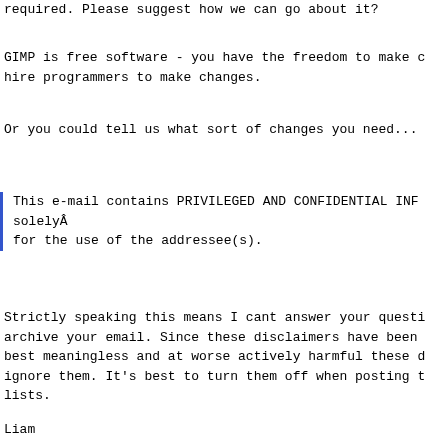required. Please suggest how we can go about it?
GIMP is free software - you have the freedom to make changes or hire programmers to make changes.
Or you could tell us what sort of changes you need...
This e-mail contains PRIVILEGED AND CONFIDENTIAL INF... solelyÂ
for the use of the addressee(s).
Strictly speaking this means I cant answer your question or archive your email. Since these disclaimers have been at best meaningless and at worse actively harmful these days I ignore them. It's best to turn them off when posting to lists.
Liam